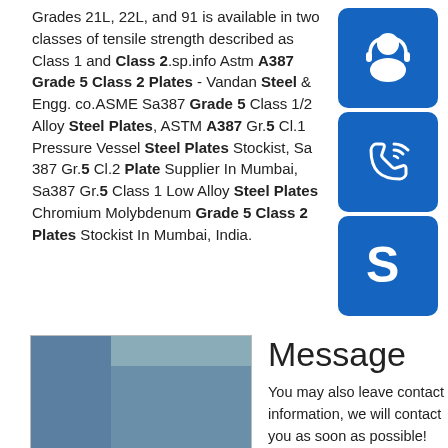Grades 21L, 22L, and 91 is available in two classes of tensile strength described as Class 1 and Class 2.sp.info Astm A387 Grade 5 Class 2 Plates - Vandan Steel & Engg. co.ASME Sa387 Grade 5 Class 1/2 Alloy Steel Plates, ASTM A387 Gr.5 Cl.1 Pressure Vessel Steel Plates Stockist, Sa 387 Gr.5 Cl.2 Plate Supplier In Mumbai, Sa387 Gr.5 Class 1 Low Alloy Steel Plate Chromium Molybdenum Grade 5 Class 2 Plates Stockist In Mumbai, India.
[Figure (illustration): Blue icon with white headset/support agent silhouette on blue rounded rectangle background]
[Figure (illustration): Blue icon with white telephone/call icon on blue rounded rectangle background]
[Figure (illustration): Blue icon with white Skype logo on blue rounded rectangle background]
[Figure (photo): Photo of stacked steel plates in an industrial setting]
Message
You may also leave contact information, we will contact you as soon as possible!